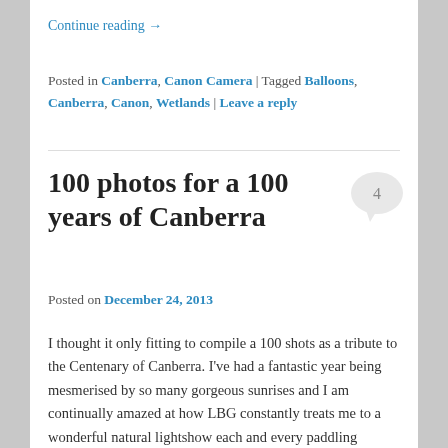Continue reading →
Posted in Canberra, Canon Camera | Tagged Balloons, Canberra, Canon, Wetlands | Leave a reply
100 photos for a 100 years of Canberra
Posted on December 24, 2013
I thought it only fitting to compile a 100 shots as a tribute to the Centenary of Canberra. I've had a fantastic year being mesmerised by so many gorgeous sunrises and I am continually amazed at how LBG constantly treats me to a wonderful natural lightshow each and every paddling session. Canberra should be known as the 'Sunrise Capital of Australia'. The four seasons have been superb. One minute you are paddling through pea soup fog, the